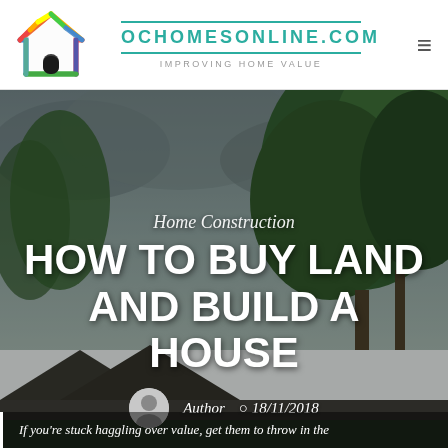[Figure (logo): Colorful house icon logo with rainbow-colored outline]
OCHOMESONLINE.COM
IMPROVING HOME VALUE
[Figure (photo): Outdoor photo of trees with stormy sky and rooftop in background, used as hero banner]
Home Construction
HOW TO BUY LAND AND BUILD A HOUSE
Author  18/11/2018
If you're stuck haggling over value, get them to throw in the